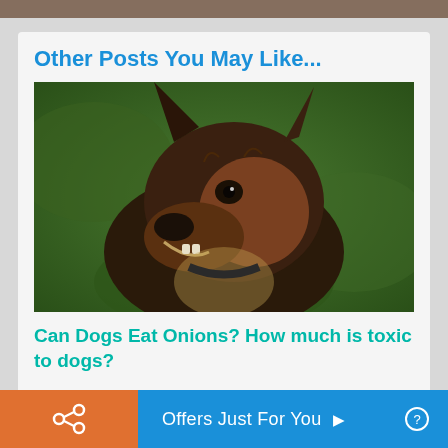[Figure (photo): Partial top strip of an image at the top of the page]
Other Posts You May Like...
[Figure (photo): Close-up photo of a German Shepherd dog with mouth open, looking to the left, against a green blurred background]
Can Dogs Eat Onions? How much is toxic to dogs?
Offers Just For You ▶